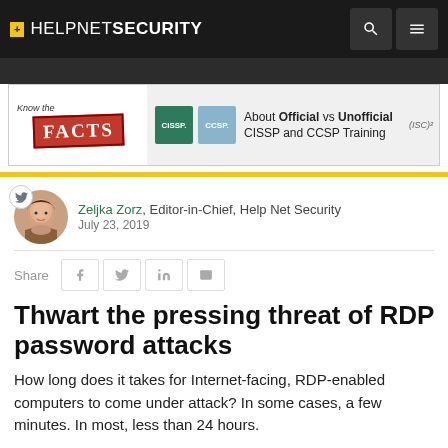+ HELPNETSECURITY
[Figure (illustration): Advertisement banner: Know the FACTS about Official vs Unofficial CISSP and CCSP Training, with CISSP and CCSP badges and ISC2 logo]
Zeljka Zorz, Editor-in-Chief, Help Net Security
July 23, 2019
Share
Thwart the pressing threat of RDP password attacks
How long does it takes for Internet-facing, RDP-enabled computers to come under attack? In some cases, a few minutes. In most, less than 24 hours.